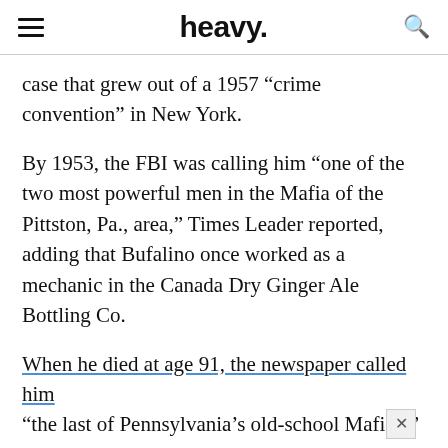heavy.
case that grew out of a 1957 “crime convention” in New York.
By 1953, the FBI was calling him “one of the two most powerful men in the Mafia of the Pittston, Pa., area,” Times Leader reported, adding that Bufalino once worked as a mechanic in the Canada Dry Ginger Ale Bottling Co.
When he died at age 91, the newspaper called him “the last of Pennsylvania’s old-school Mafiosi” and the “don of dons.”